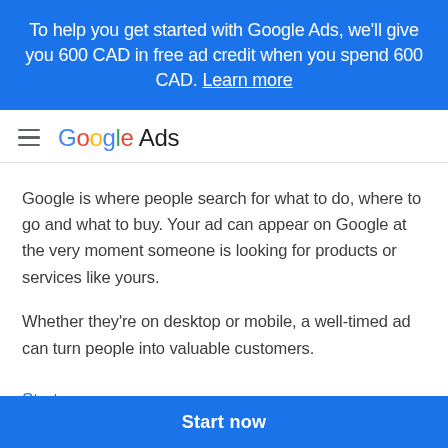To help you get started with Google Ads, we'll give you 600 CAD in free ad credit when you spend 600 CAD. Learn more
[Figure (logo): Google Ads logo with hamburger menu icon]
Google is where people search for what to do, where to go and what to buy. Your ad can appear on Google at the very moment someone is looking for products or services like yours.
Whether they're on desktop or mobile, a well-timed ad can turn people into valuable customers.
Start now →
Start now